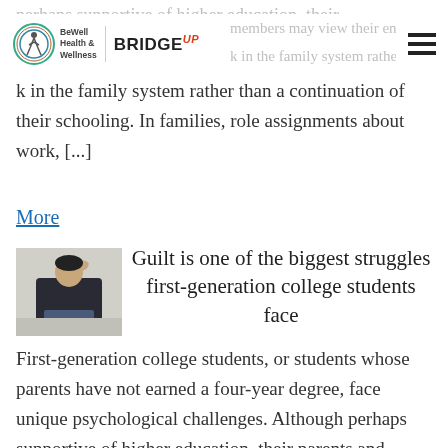BeWell Health & Wellness | BRIDGE UP
perhaps supportive of higher education, their
members may view their entry
k in the family system rather than a continuation of their schooling. In families, role assignments about work, [...]
More
Guilt is one of the biggest struggles first-generation college students face
[Figure (photo): Photo of a young man with his hand on his head, appearing stressed, sitting against a wall]
First-generation college students, or students whose parents have not earned a four-year degree, face unique psychological challenges. Although perhaps supportive of higher education, their parents and family members may view their entry into college as a